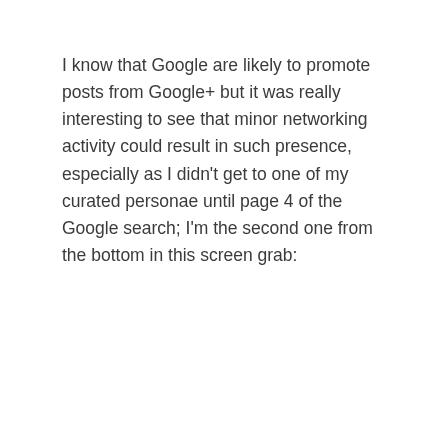I know that Google are likely to promote posts from Google+ but it was really interesting to see that minor networking activity could result in such presence, especially as I didn't get to one of my curated personae until page 4 of the Google search; I'm the second one from the bottom in this screen grab: